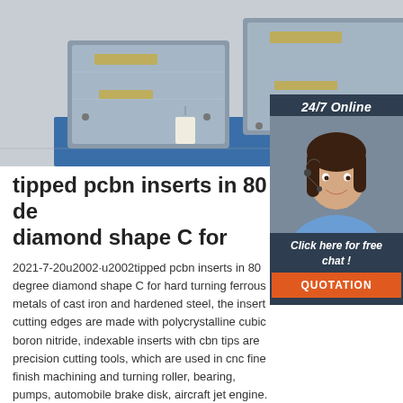[Figure (photo): Photo of industrial metal machinery components (likely electrical enclosures or actuators) wrapped in plastic, placed on a blue pallet on a warehouse floor.]
[Figure (photo): Sidebar with '24/7 Online' label, a female customer service agent wearing a headset and smiling, a 'Click here for free chat!' italic text, and an orange QUOTATION button.]
tipped pcbn inserts in 80 de diamond shape C for
2021-7-20u2002·u2002tipped pcbn inserts in 80 degree diamond shape C for hard turning ferrous metals of cast iron and hardened steel, the insert cutting edges are made with polycrystalline cubic boron nitride, indexable inserts with cbn tips are precision cutting tools, which are used in cnc fine finish machining and turning roller, bearing, pumps, automobile brake disk, aircraft jet engine.